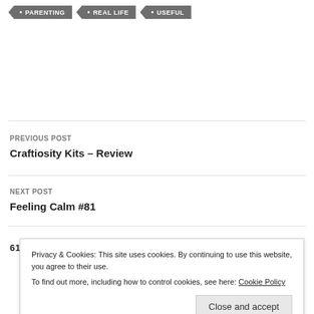• PARENTING
• REAL LIFE
• USEFUL
PREVIOUS POST
Craftiosity Kits – Review
NEXT POST
Feeling Calm #81
61 THOUGHTS ON "THIS PLUS THAT EQUALS
Privacy & Cookies: This site uses cookies. By continuing to use this website, you agree to their use. To find out more, including how to control cookies, see here: Cookie Policy
Close and accept